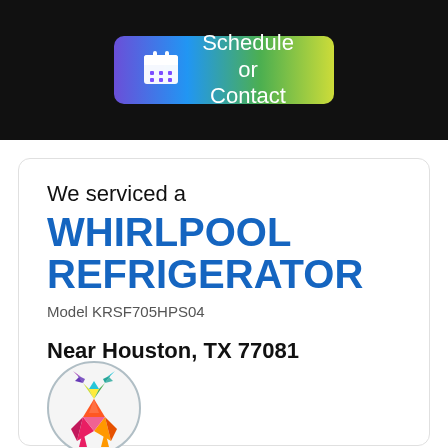[Figure (other): Gradient button with calendar icon reading 'Schedule or Contact' on a black header background]
We serviced a
WHIRLPOOL REFRIGERATOR
Model KRSF705HPS04
Near Houston, TX 77081
[Figure (logo): Colorful geometric low-poly deer logo inside a light grey circle]